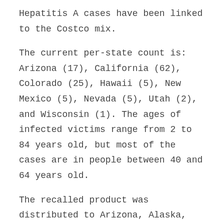Hepatitis A cases have been linked to the Costco mix.
The current per-state count is: Arizona (17), California (62), Colorado (25), Hawaii (5), New Mexico (5), Nevada (5), Utah (2), and Wisconsin (1). The ages of infected victims range from 2 to 84 years old, but most of the cases are in people between 40 and 64 years old.
The recalled product was distributed to Arizona, Alaska, California, Colorado, Hawaii, Idaho, Montana, Nevada, New Mexico, Oregon, Utah, and Washington state, among some further states.